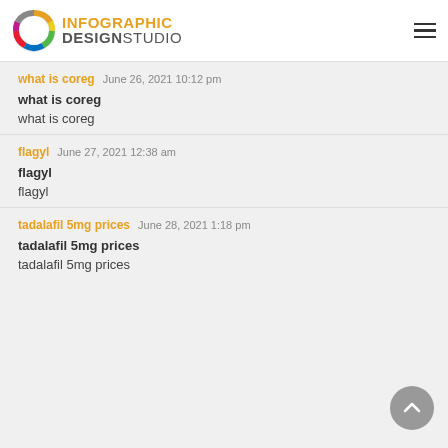INFOGRAPHIC DESIGN STUDIO
what is coreg — June 26, 2021 10:12 pm
what is coreg
what is coreg
flagyl — June 27, 2021 12:38 am
flagyl
flagyl
tadalafil 5mg prices — June 28, 2021 1:18 pm
tadalafil 5mg prices
tadalafil 5mg prices